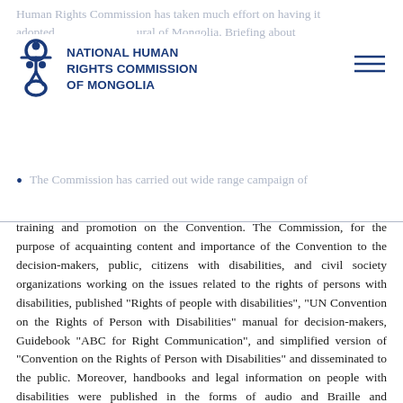Human Rights Commission has taken much effort on having it adopted into the legislature of Mongolia. Briefing about the current stage of implementation is as follows:
[Figure (logo): National Human Rights Commission of Mongolia logo with stylized human figure icon and organization name in blue]
The Commission has carried out wide range campaign of training and promotion on the Convention. The Commission, for the purpose of acquainting content and importance of the Convention to the decision-makers, public, citizens with disabilities, and civil society organizations working on the issues related to the rights of persons with disabilities, published "Rights of people with disabilities", "UN Convention on the Rights of Person with Disabilities" manual for decision-makers, Guidebook "ABC for Right Communication", and simplified version of "Convention on the Rights of Person with Disabilities" and disseminated to the public. Moreover, handbooks and legal information on people with disabilities were published in the forms of audio and Braille and disseminated to the